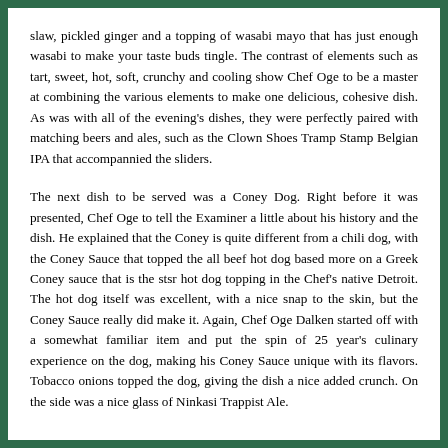slaw, pickled ginger and a topping of wasabi mayo that has just enough wasabi to make your taste buds tingle. The contrast of elements such as tart, sweet, hot, soft, crunchy and cooling show Chef Oge to be a master at combining the various elements to make one delicious, cohesive dish. As was with all of the evening's dishes, they were perfectly paired with matching beers and ales, such as the Clown Shoes Tramp Stamp Belgian IPA that accompannied the sliders.
The next dish to be served was a Coney Dog. Right before it was presented, Chef Oge to tell the Examiner a little about his history and the dish. He explained that the Coney is quite different from a chili dog, with the Coney Sauce that topped the all beef hot dog based more on a Greek Coney sauce that is the stsr hot dog topping in the Chef's native Detroit. The hot dog itself was excellent, with a nice snap to the skin, but the Coney Sauce really did make it. Again, Chef Oge Dalken started off with a somewhat familiar item and put the spin of 25 year's culinary experience on the dog, making his Coney Sauce unique with its flavors. Tobacco onions topped the dog, giving the dish a nice added crunch. On the side was a nice glass of Ninkasi Trappist Ale.